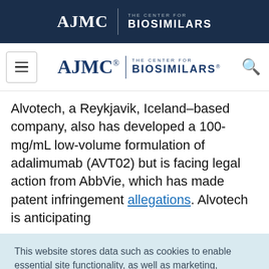AJMC | THE CENTER FOR BIOSIMILARS
[Figure (logo): AJMC The Center for Biosimilars navigation logo with hamburger menu and search icon]
Alvotech, a Reykjavik, Iceland–based company, also has developed a 100-mg/mL low-volume formulation of adalimumab (AVT02) but is facing legal action from AbbVie, which has made patent infringement allegations. Alvotech is anticipating
This website stores data such as cookies to enable essential site functionality, as well as marketing, personalization, and analytics. Cookie Policy
Accept
Deny